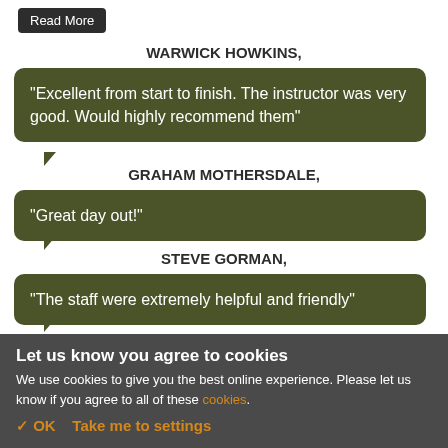Read More
WARWICK HOWKINS,
"Excellent from start to finish. The instructor was very good. Would highly recommend them"
GRAHAM MOTHERSDALE,
"Great day out!"
STEVE GORMAN,
"The staff were extremely helpful and friendly"
Let us know you agree to cookies
We use cookies to give you the best online experience. Please let us know if you agree to all of these cookies.
✓ OK   Take me to settings